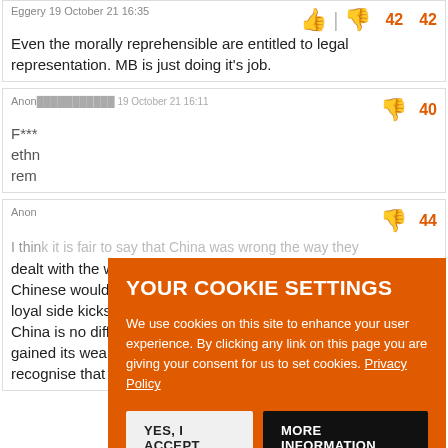Eggery 19 October 21 16:35
42  42
Even the morally reprehensible are entitled to legal representation. MB is just doing it's job.
Anon  19 October 21 16:11
40
F***
ethn
rem
[Figure (screenshot): Cookie consent overlay with orange background. Title: YOUR COOKIE SETTINGS. Body: We use cookies on this site to enhance your user experience. By clicking any link on this page you are giving your consent for us to set cookies. Privacy Policy. Buttons: YES, I ACCEPT and MORE INFORMATION.]
Anon
44
I think it is fair to say that China was wrong the way they dealt with the woke protestors of their own in 1989. I think Chinese would agree also. But I also think that America and its loyal side kicks in Europe and the Pacific should recognise that China is no different from any other country. And its people gained its wealth through sheer hard work and the sooner you recognise that the sooner you can